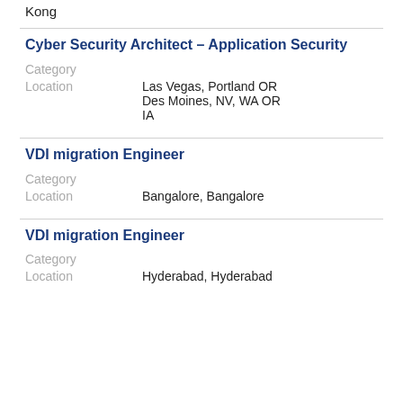Kong
Cyber Security Architect – Application Security
Category
Location   Las Vegas, Portland OR Des Moines, NV, WA OR IA
VDI migration Engineer
Category
Location   Bangalore, Bangalore
VDI migration Engineer
Category
Location   Hyderabad, Hyderabad